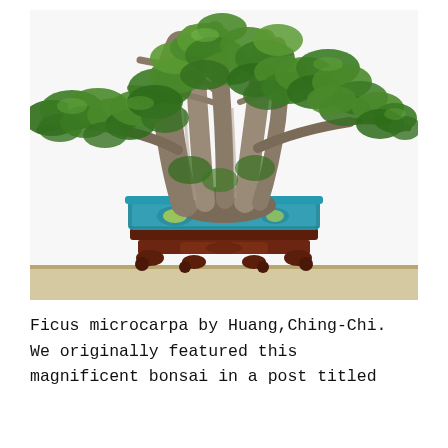[Figure (photo): A large, impressive Ficus microcarpa bonsai tree with dense green foliage spread wide, a thick gnarled multi-trunk base, planted in a rectangular turquoise/teal decorative pot with yellow painted floral motifs, placed on an ornate dark reddish-brown carved wooden stand with claw feet, displayed on a light mat or shelf against a white background.]
Ficus microcarpa by Huang,Ching-Chi. We originally featured this magnificent bonsai in a post titled